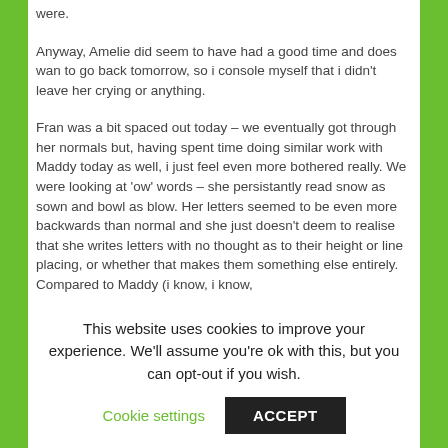were.
Anyway, Amelie did seem to have had a good time and does wan to go back tomorrow, so i console myself that i didn't leave her crying or anything.
Fran was a bit spaced out today – we eventually got through her normals but, having spent time doing similar work with Maddy today as well, i just feel even more bothered really. We were looking at 'ow' words – she persistantly read snow as sown and bowl as blow. Her letters seemed to be even more backwards than normal and she just doesn't deem to realise that she writes letters with no thought as to their height or line placing, or whether that makes them something else entirely. Compared to Maddy (i know, i know,
This website uses cookies to improve your experience. We'll assume you're ok with this, but you can opt-out if you wish.
Cookie settings
ACCEPT